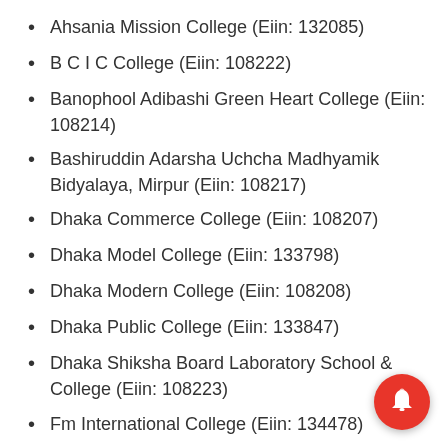Ahsania Mission College (Eiin: 132085)
B C I C College (Eiin: 108222)
Banophool Adibashi Green Heart College (Eiin: 108214)
Bashiruddin Adarsha Uchcha Madhyamik Bidyalaya, Mirpur (Eiin: 108217)
Dhaka Commerce College (Eiin: 108207)
Dhaka Model College (Eiin: 133798)
Dhaka Modern College (Eiin: 108208)
Dhaka Public College (Eiin: 133847)
Dhaka Shiksha Board Laboratory School & College (Eiin: 108223)
Fm International College (Eiin: 134478)
Govt. Bangla College (Eiin: 108210)
Green Field College (Eiin: 134180)
Home Mulluk College (Eiin: 131373)